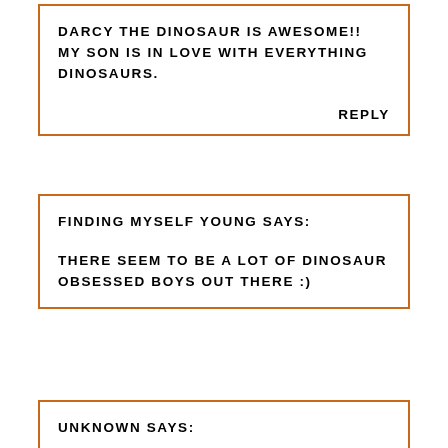DARCY THE DINOSAUR IS AWESOME!! MY SON IS IN LOVE WITH EVERYTHING DINOSAURS.
REPLY
FINDING MYSELF YOUNG SAYS:
THERE SEEM TO BE A LOT OF DINOSAUR OBSESSED BOYS OUT THERE :)
UNKNOWN SAYS: